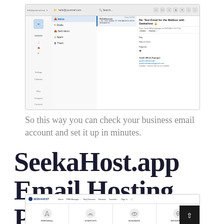[Figure (screenshot): Screenshot of an email client (Roundcube or similar webmail) showing an inbox with a test email 'Re: Test Email for the Mailbox with SeekaHost' opened in the reading pane. The left sidebar shows navigation icons, a folder panel with Inbox, Drafts, Sent Items, Spam, Trash, and the email body shows a greeting and signature from Yasith Mihira Kapugee.]
So this way you can check your business email account and set it up in minutes.
SeekaHost.app Email Hosting Plan
[Figure (screenshot): Screenshot of the SeekaHost.app website showing the navigation bar with Home, PBN Manager, Buy Domains, Reviews, Tutorials, Sign In links, and four hosting plan cards: PERSONAL, STARTUPS, BUSINESS, ENTERPRISE, each with a circular icon illustration.]